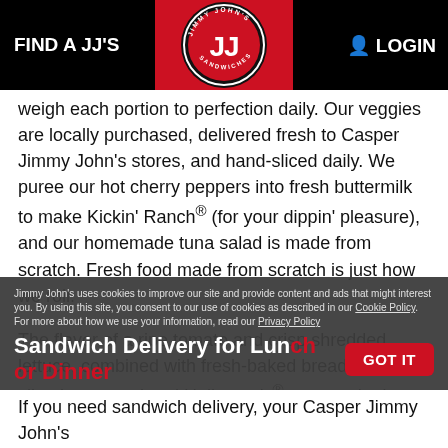FIND A JJ'S   LOGIN
weigh each portion to perfection daily. Our veggies are locally purchased, delivered fresh to Casper Jimmy John's stores, and hand-sliced daily. We puree our hot cherry peppers into fresh buttermilk to make Kickin' Ranch® (for your dippin' pleasure), and our homemade tuna salad is made from scratch. Fresh food made from scratch is just how we roll.
The flavor of a ripe tomato and crisp shredded lettuce, combined with fresh-baked bread, fresh-sliced meat and real Hellmann's® mayo – that's when the magic happens. Sandwiches made with love every single day, since 1983.
Jimmy John's uses cookies to improve our site and provide content and ads that might interest you. By using this site, you consent to our use of cookies as described in our Cookie Policy. For more about how we use your information, read our Privacy Policy.
Sandwich Delivery for Lunch or Dinner
If you need sandwich delivery, your Casper Jimmy John's